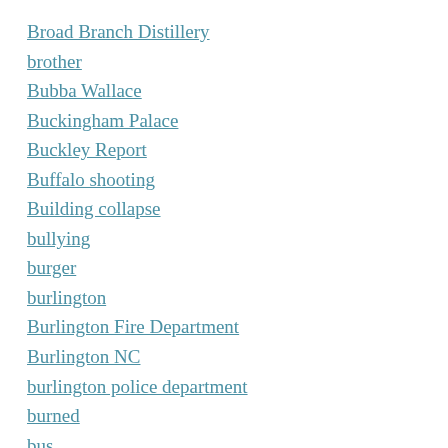Broad Branch Distillery
brother
Bubba Wallace
Buckingham Palace
Buckley Report
Buffalo shooting
Building collapse
bullying
burger
burlington
Burlington Fire Department
Burlington NC
burlington police department
burned
bus